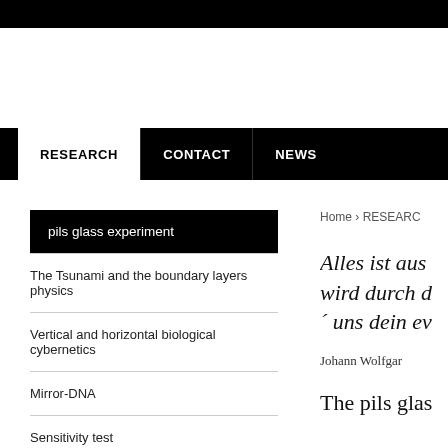RESEARCH | CONTACT | NEWS
pils glass experiment
The Tsunami and the boundary layers physics
Vertical and horizontal biological cybernetics
Mirror-DNA
Sensitivity test
Pain
Home › RESEARCH
Alles ist aus wird durch d ´ uns dein ev
Johann Wolfgar
The pils glas